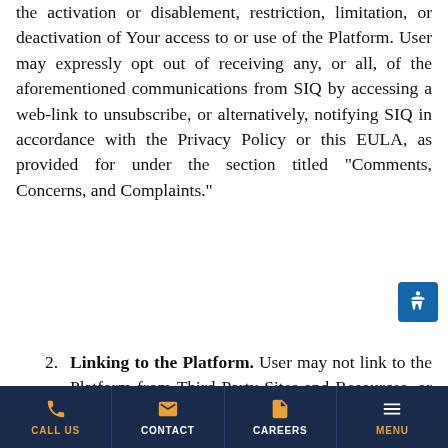the activation or disablement, restriction, limitation, or deactivation of Your access to or use of the Platform. User may expressly opt out of receiving any, or all, of the aforementioned communications from SIQ by accessing a web-link to unsubscribe, or alternatively, notifying SIQ in accordance with the Privacy Policy or this EULA, as provided for under the section titled “Comments, Concerns, and Complaints.”
2.	Linking to the Platform. User may not link to the Platform from Third-Party Sites and Resources, or other multi-media platforms, nor may User link, or transmit a link, to the Platform to any unauthorized third-party individuals or entities. Notwithstanding,
CALL US | CONTACT | CAREERS | MENU